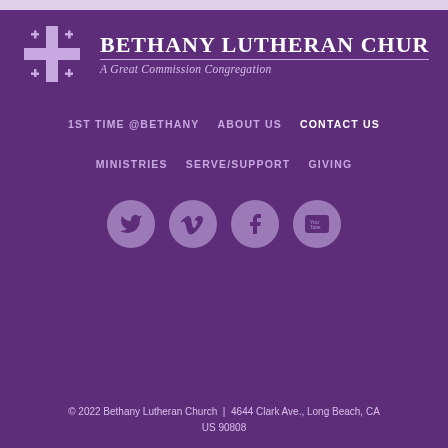[Figure (logo): Bethany Lutheran Church logo with Jerusalem cross and church name]
1ST TIME @BETHANY   ABOUT US   CONTACT US
MINISTRIES   SERVE/SUPPORT   GIVING
[Figure (illustration): Social media icons: Twitter, Vimeo, Facebook, YouTube]
© 2022 Bethany Lutheran Church  |  4644 Clark Ave., Long Beach, CA US 90808